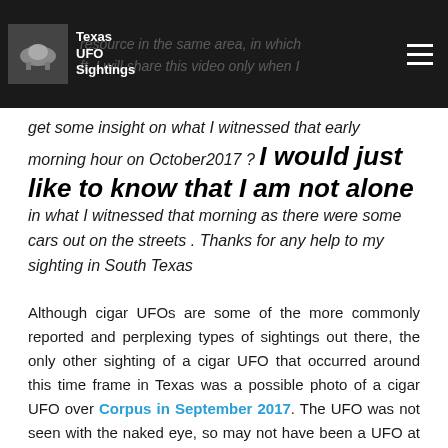Texas UFO Sightings
get some insight on what I witnessed that early morning hour on October2017 ? I would just like to know that I am not alone in what I witnessed that morning as there were some cars out on the streets . Thanks for any help to my sighting in South Texas
Although cigar UFOs are some of the more commonly reported and perplexing types of sightings out there, the only other sighting of a cigar UFO that occurred around this time frame in Texas was a possible photo of a cigar UFO over Corpus in September 2017. The UFO was not seen with the naked eye, so may not have been a UFO at all - but a camera blur or lens flare or some other